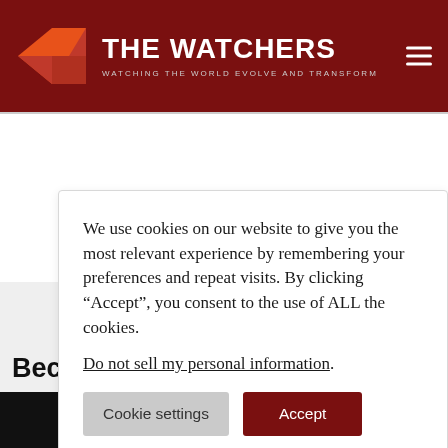THE WATCHERS — WATCHING THE WORLD EVOLVE AND TRANSFORM
We use cookies on our website to give you the most relevant experience by remembering your preferences and repeat visits. By clicking “Accept”, you consent to the use of ALL the cookies.
Do not sell my personal information.
Cookie settings | Accept
Beco